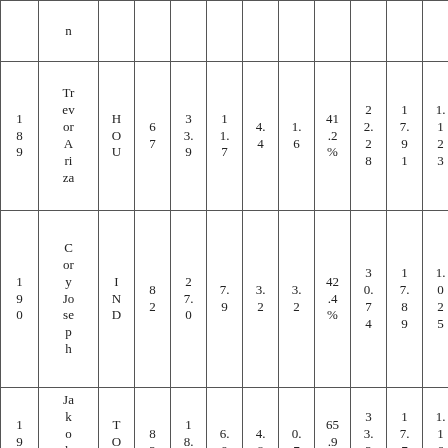|  | n |  |  |  |  |  |  |  |  |  |  |
| 1
8
9 | Tr
ev
or
A
ri
za | H
O
U | 6
7 | 3
3.
9 | 1
1.
7 | 4.
4 | 1.
6 | 41
.2
% | 2
2.
2
8 | 1
7.
9
1 | 1.
1
2
3 |
| 1
9
0 | C
or
y
Jo
se
p
h | I
N
D | 8
2 | 2
7.
0 | 7.
9 | 3.
2 | 3.
2 | 42
.4
% | 3
0.
7
4 | 1
7.
8
9 | 1.
0
2
5 |
| 1
9
1 | Ja
k
o
b
P
oe | T
O
R | 8
2 | 1
8.
6 | 6.
9 | 4.
8 | 0.
7 | 65
.9
% | 3
3.
2
3 | 1
7.
7
6 | 1.
1
6
0 |